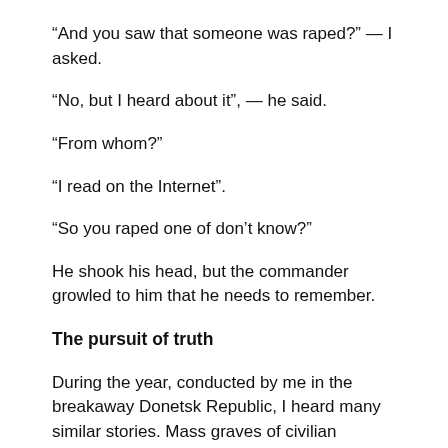“And you saw that someone was raped?” — I asked.
“No, but I heard about it”, — he said.
“From whom?”
“I read on the Internet”.
“So you raped one of don’t know?”
He shook his head, but the commander growled to him that he needs to remember.
The pursuit of truth
During the year, conducted by me in the breakaway Donetsk Republic, I heard many similar stories. Mass graves of civilian women. About Ukrainians, whose back was tattooed with a swastika. The horrendous torture by both sides. The problem is that very few of